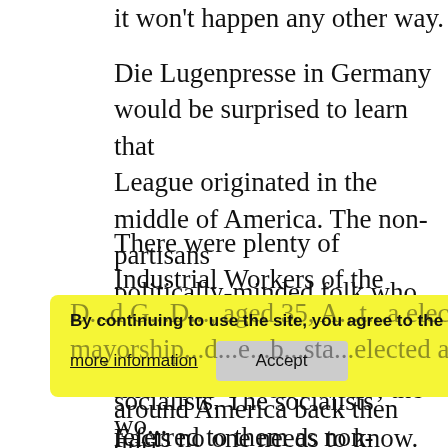it won't happen any other way.
Die Lugenpresse in Germany would be surprised to learn that the Non-Partisan League originated in the middle of America. The non-partisans were politically-minded folk who sympathized with members of the socialists. The socialists referred to them as non-partisans, were weren't really Republican, but definitely not socialist.
There were plenty of Industrial Workers of the World not working during the Depression. The IWW, also known as 'I Won't Work', the workers during the Great Depression, were running around all over the
Plenty of communists roaming around America back then during the Depression. Mother Bloor was one of them and married a crazy man in my home town. Woody Guthrie sang songs about it all, another
D...d G...D... , aged 35, A...t...a elected a socialist mayorship...d...e...b...sta...elected a socialist f
Facts no one needs to know. Too much progressivism in the A...
By continuing to use the site, you agree to the use of cookies.
more information
Accept